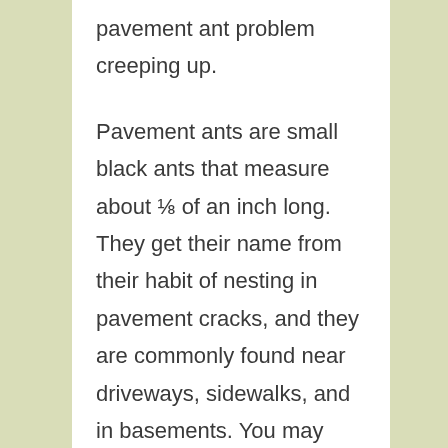pavement ant problem creeping up.

Pavement ants are small black ants that measure about ⅛ of an inch long. They get their name from their habit of nesting in pavement cracks, and they are commonly found near driveways, sidewalks, and in basements. You may also find them in high-moisture areas with hard floors like kitchens and bathrooms, since they need access to water.